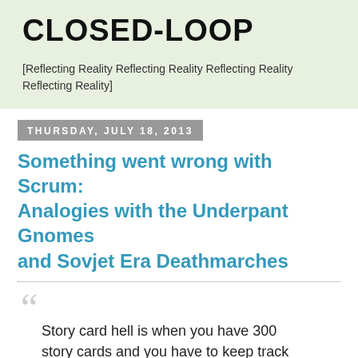CLOSED-LOOP
[Reflecting Reality Reflecting Reality Reflecting Reality Reflecting Reality]
THURSDAY, JULY 18, 2013
Something went wrong with Scrum: Analogies with the Underpant Gnomes and Sovjet Era Deathmarches
Story card hell is when you have 300 story cards and you have to keep track of them all. [...] Every customer I've ever worked with wanted to put story cards in a